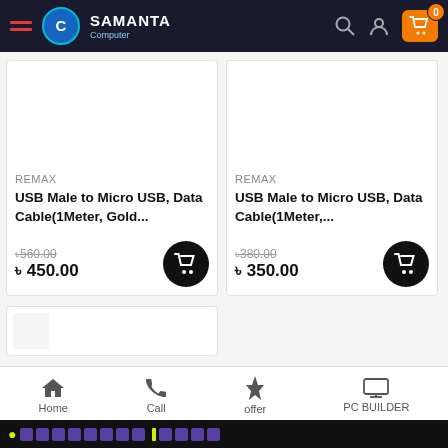[Figure (screenshot): Samanta Computer e-commerce website header with hamburger menu, logo, search icon, user icon, and shopping cart with 0 items]
[Figure (photo): Product image area for USB Male to Micro USB Data Cable (1Meter, Gold) by REMAX, priced at ৳450.00 (was ৳560.00)]
REMAX
USB Male to Micro USB, Data Cable(1Meter, Gold...
৳560.00
৳ 450.00
[Figure (photo): Product image area for USB Male to Micro USB Data Cable (1Meter) by REMAX, priced at ৳350.00 (was ৳380.00)]
REMAX
USB Male to Micro USB, Data Cable(1Meter,...
৳380.00
৳ 350.00
Home | Call | offer | PC BUILDER